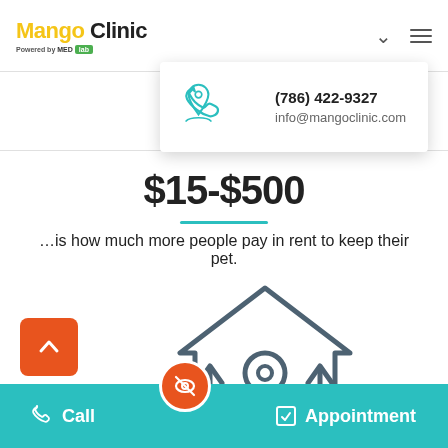[Figure (screenshot): Mango Clinic website screenshot showing logo, navigation, contact dropdown, price range, and footer bar]
$15-$500
…is how much more people pay in rent to keep their pet.